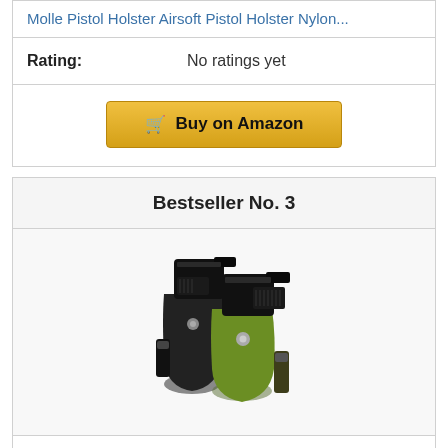Molle Pistol Holster Airsoft Pistol Holster Nylon...
Rating: No ratings yet
Buy on Amazon
Bestseller No. 3
[Figure (photo): Two pistol holsters (one black, one olive green) with handguns inserted, displayed against a white background.]
2 Pack Gun Holsters for Concealed Carry